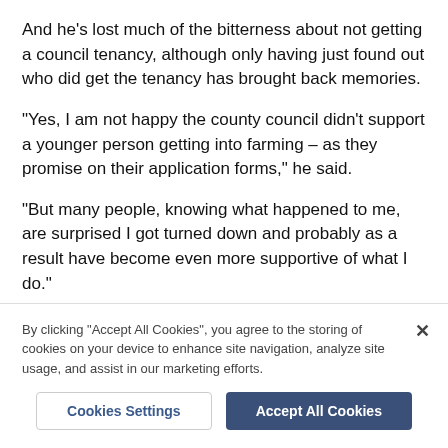And he's lost much of the bitterness about not getting a council tenancy, although only having just found out who did get the tenancy has brought back memories.
“Yes, I am not happy the county council didn’t support a younger person getting into farming – as they promise on their application forms,” he said.
“But many people, knowing what happened to me, are surprised I got turned down and probably as a result have become even more supportive of what I do.”
Dad Rob says after the Manor Farm debacle, Toby
By clicking “Accept All Cookies”, you agree to the storing of cookies on your device to enhance site navigation, analyze site usage, and assist in our marketing efforts.